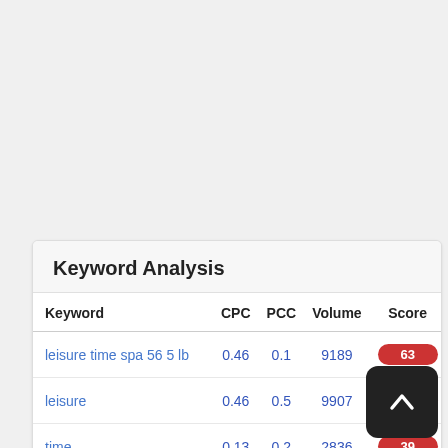Keyword Analysis
| Keyword | CPC | PCC | Volume | Score | L |
| --- | --- | --- | --- | --- | --- |
| leisure time spa 56 5 lb | 0.46 | 0.1 | 9189 | 63 |  |
| leisure | 0.46 | 0.5 | 9907 | 49 |  |
| time | 0.13 | 0.2 | 2836 | 39 |  |
| spa | 1.72 | 0.4 | 8637 | 31 |  |
| 56 | 0.71 | 0.2 | 8995 | 10 |  |
| 5 | 0.48 | 0.4 | 6315 | 2 |  |